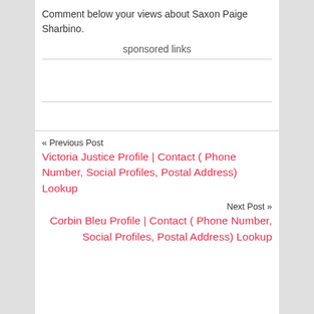Comment below your views about Saxon Paige Sharbino.
sponsored links
« Previous Post
Victoria Justice Profile | Contact ( Phone Number, Social Profiles, Postal Address) Lookup
Next Post »
Corbin Bleu Profile | Contact ( Phone Number, Social Profiles, Postal Address) Lookup